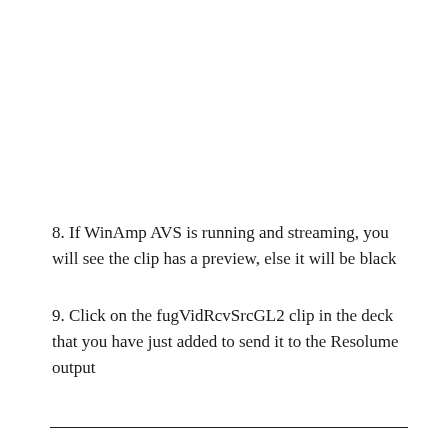8. If WinAmp AVS is running and streaming, you will see the clip has a preview, else it will be black
9. Click on the fugVidRcvSrcGL2 clip in the deck that you have just added to send it to the Resolume output